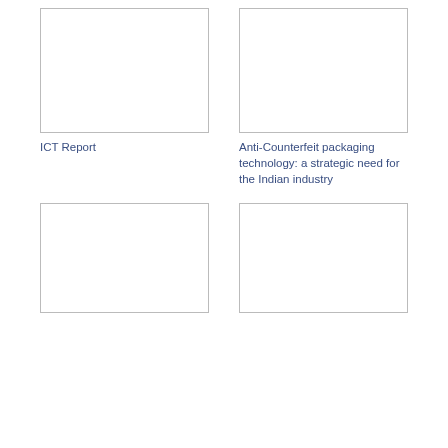[Figure (other): Empty white box with border, top-left card image placeholder]
[Figure (other): Empty white box with border, top-right card image placeholder]
ICT Report
Anti-Counterfeit packaging technology: a strategic need for the Indian industry
[Figure (other): Empty white box with border, bottom-left card image placeholder]
[Figure (other): Empty white box with border, bottom-right card image placeholder]